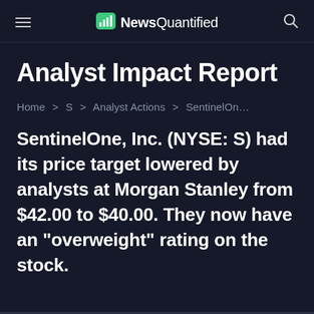NewsQuantified
Analyst Impact Report
Home > S > Analyst Actions > SentinelOn…
SentinelOne, Inc. (NYSE: S) had its price target lowered by analysts at Morgan Stanley from $42.00 to $40.00. They now have an "overweight" rating on the stock.